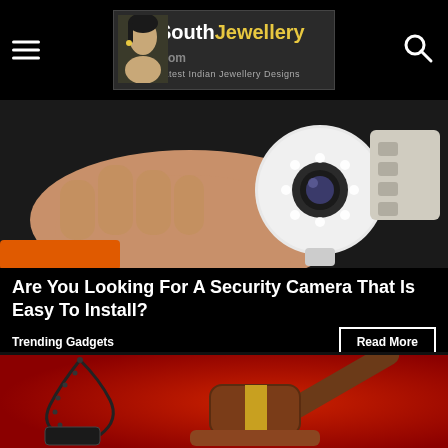SouthJewellery.com — Latest Indian Jewellery Designs
[Figure (photo): A hand holding a small white dome security camera with LED lights around the lens, with electronic components visible in the background]
Are You Looking For A Security Camera That Is Easy To Install?
Trending Gadgets
[Figure (photo): A judge's wooden gavel on a red background with a dog tag/military ID necklace in the foreground]